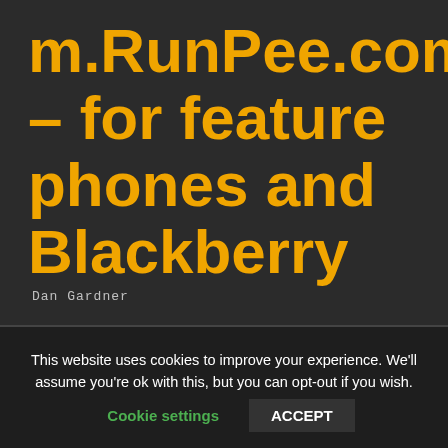m.RunPee.com – for feature phones and Blackberry
Dan Gardner
This website uses cookies to improve your experience. We'll assume you're ok with this, but you can opt-out if you wish.
Cookie settings
ACCEPT